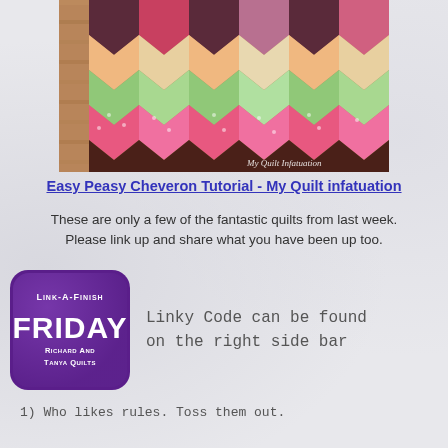[Figure (photo): Photograph of a colorful chevron/zigzag quilt pattern in pink, green, brown, and cream tones laid on a wooden deck. Watermark reads 'My Quilt Infatuation'.]
Easy Peasy Cheveron Tutorial - My Quilt infatuation
These are only a few of the fantastic quilts from last week. Please link up and share what you have been up too.
[Figure (logo): Link-A-Finish Friday logo - purple rounded square with white text reading LINK-A-FINISH FRIDAY Richard And Tanya Quilts]
Linky Code can be found on the right side bar
1) Who likes rules. Toss them out.